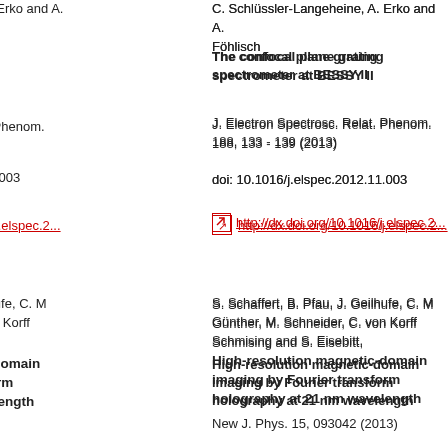C. Schlüssler-Langeheine, A. Erko and A. Föhlisch
The confocal plane grating spectrometer at BESSY II
J. Electron Spectrosc. Relat. Phenom. 188, 133 - 139 (2013)
doi: 10.1016/j.elspec.2012.11.003
http://dx.doi.org/10.1016/j.elspec.2...
S. Schaffert, B. Pfau, J. Geilhufe, C. M. Günther, M. Schneider, C. von Korff Schmising and S. Eisebitt,
High-resolution magnetic-domain imaging by Fourier transform holography at 21 nm wavelength
New J. Phys. 15, 093042 (2013)
doi:10.1088/1367-2630/15/9/093042
open access:
http://iopscience.iop.org/1367-2630/15/9/093042